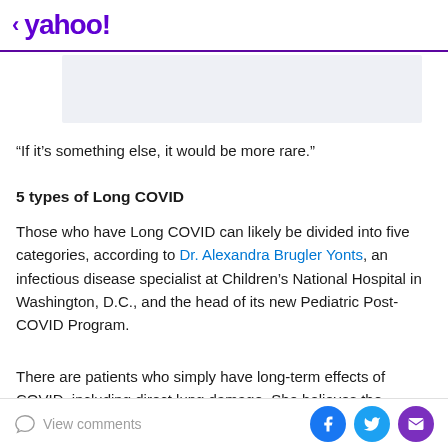< yahoo!
[Figure (other): Gray advertisement banner placeholder]
“If it’s something else, it would be more rare.”
5 types of Long COVID
Those who have Long COVID can likely be divided into five categories, according to Dr. Alexandra Brugler Yonts, an infectious disease specialist at Children’s National Hospital in Washington, D.C., and the head of its new Pediatric Post-COVID Program.
There are patients who simply have long-term effects of COVID, including direct lung damage. She believes the
View comments